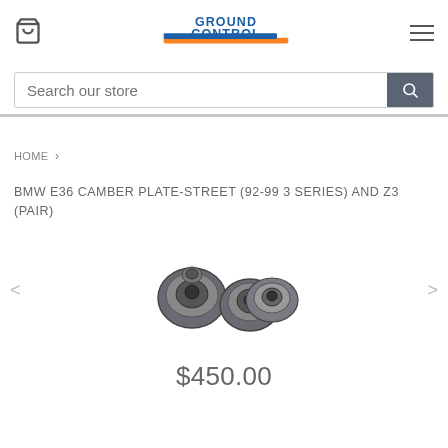Ground Control store header with cart, logo, and menu
Search our store
BMW E36 CAMBER PLATE-STREET (92-99 3 SERIES) AND Z3 (PAIR)
HOME >
[Figure (photo): Product photo of BMW E36 camber plates (pair) - two silver/black circular suspension components]
$450.00